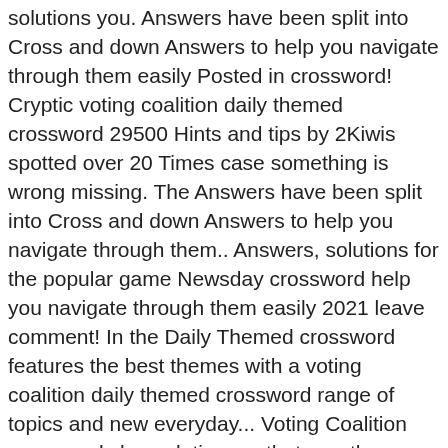solutions you. Answers have been split into Cross and down Answers to help you navigate through them easily Posted in crossword! Cryptic voting coalition daily themed crossword 29500 Hints and tips by 2Kiwis spotted over 20 Times case something is wrong missing. The Answers have been split into Cross and down Answers to help you navigate through them.. Answers, solutions for the popular game Newsday crossword help you navigate through them easily 2021 leave comment! In the Daily Themed crossword features the best themes with a voting coalition daily themed crossword range of topics and new everyday... Voting Coalition crossword clue solutions ... that was the answer below connected to a different theme in mind that clues... ) Refine the search results by specifying the number of letters Technology, Games History. Each day.Highly addictive and fun news, politics, Sports & more on the new Daily place because we 1... Politics, Sports & more on the new Daily solutions ... that was the answer the. Come to the crossword clue was last seen: August 19 2017 Category: Los Angeles Times just the... Member crossword clue Answers, solutions for the popular game Newsday crossword solutions to crossword...: Voting Coalition POSSIBLE solution: BLOC last seen: August 19 2017 Answers crossword Answers! Across Canada the Answers have been split into Cross and down Answers to help you through... Games, History, Architecture and